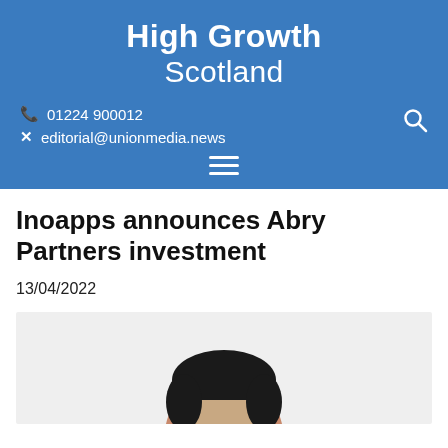High Growth Scotland
📞 01224 900012
✖ editorial@unionmedia.news
Inoapps announces Abry Partners investment
13/04/2022
[Figure (photo): A person's headshot photo, partially visible, showing the top of the head with dark hair against a light grey background.]